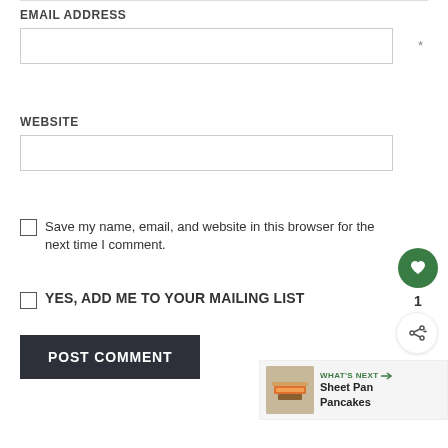EMAIL ADDRESS
*
WEBSITE
Save my name, email, and website in this browser for the next time I comment.
YES, ADD ME TO YOUR MAILING LIST
POST COMMENT
1
WHAT'S NEXT → Sheet Pan Pancakes